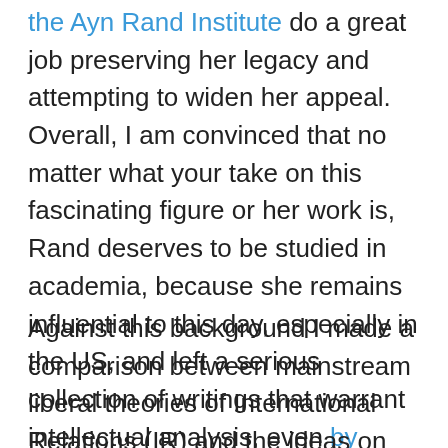the Ayn Rand Institute do a great job preserving her legacy and attempting to widen her appeal. Overall, I am convinced that no matter what your take on this fascinating figure or her work is, Rand deserves to be studied in academia, because she remains influential to this day, especially in the US, and left a serious collection of writings that warrant intellectual analysis, even by people who do not consider themselves Randian.
Against this background I made a comparison between mainstream liberal theories of International Relations (IR) and the ideas on world affairs of Ayn Rand.